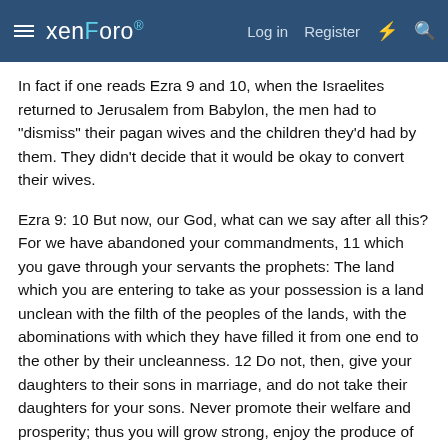xenForo — Log in   Register
In fact if one reads Ezra 9 and 10, when the Israelites returned to Jerusalem from Babylon, the men had to "dismiss" their pagan wives and the children they'd had by them. They didn't decide that it would be okay to convert their wives.
Ezra 9: 10 But now, our God, what can we say after all this? For we have abandoned your commandments, 11 which you gave through your servants the prophets: The land which you are entering to take as your possession is a land unclean with the filth of the peoples of the lands, with the abominations with which they have filled it from one end to the other by their uncleanness. 12 Do not, then, give your daughters to their sons in marriage, and do not take their daughters for your sons. Never promote their welfare and prosperity; thus you will grow strong, enjoy the produce of the land, and leave it as an inheritance to your children forever.
So this seems to contradict what the Rabbis say.